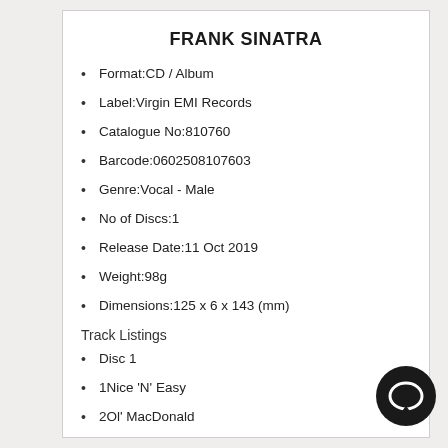FRANK SINATRA
Format:CD / Album
Label:Virgin EMI Records
Catalogue No:810760
Barcode:0602508107603
Genre:Vocal - Male
No of Discs:1
Release Date:11 Oct 2019
Weight:98g
Dimensions:125 x 6 x 143 (mm)
Track Listings
Disc 1
1Nice 'N' Easy
2Ol' MacDonald